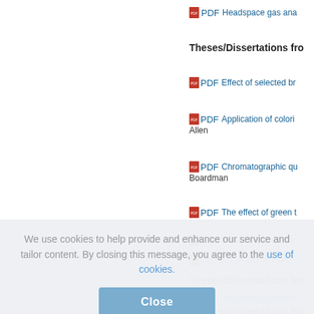PDF  Headspace gas ana...
Theses/Dissertations fro...
PDF  Effect of selected br...
PDF  Application of colori... / Allen
PDF  Chromatographic qu... / Boardman
PDF  The effect of green t...
PDF  Determining a dyna...
PDF  Antioxidative effect o...
Theses/Dissertations fro...
PDF  The development of...
Theses/Dissertations fro...
We use cookies to help provide and enhance our service and tailor content. By closing this message, you agree to the use of cookies.
Close